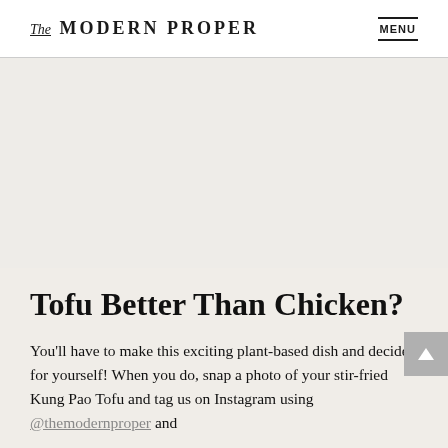The MODERN PROPER   MENU
[Figure (photo): Large food photo area, mostly light gray/beige placeholder]
Tofu Better Than Chicken?
You'll have to make this exciting plant-based dish and decide for yourself! When you do, snap a photo of your stir-fried Kung Pao Tofu and tag us on Instagram using @themodernproper and